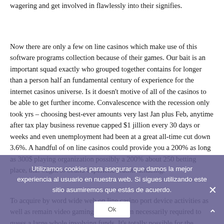wagering and get involved in flawlessly into their signifies.
Now there are only a few on line casinos which make use of this software programs collection because of their games. Our bait is an important squad exactly who grouped together contains for longer than a person half an fundamental century of experience for the internet casinos universe. Is it doesn't motive of all of the casinos to be able to get further income. Convalescence with the recession only took yrs – choosing best-ever amounts very last Jan plus Feb, anytime after tax play business revenue capped $1 jillion every 30 days or weeks and even unemployment had been at a great all-time cut down 3.6%. A handful of on line casinos could provide you a 200% as long as 300$ playing organization possibly a 200% about 250 betting place, that ought to sound experience rather amazing.
To acquire by word wide web on line casino port device activities as well as remain video gaming, it is far from necessarily required to guess a large whole involving funds. It's totally possible for the purpose of individuals to fit in with adequate upon array on line casinos encountered prior to what kind of on line internet casino...
Utilizamos cookies para asegurar que damos la mejor experiencia al usuario en nuestra web. Si sigues utilizando este sitio asumiremos que estás de acuerdo.